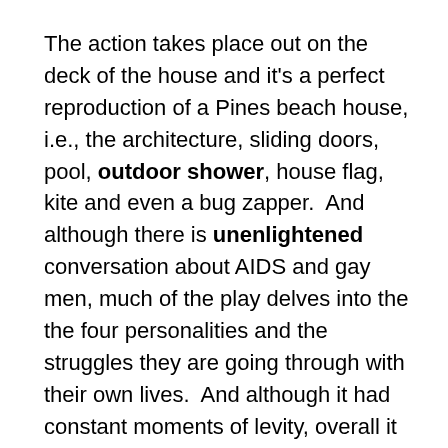The action takes place out on the deck of the house and it's a perfect reproduction of a Pines beach house, i.e., the architecture, sliding doors, pool, outdoor shower, house flag, kite and even a bug zapper.  And although there is unenlightened conversation about AIDS and gay men, much of the play delves into the the four personalities and the struggles they are going through with their own lives.  And although it had constant moments of levity, overall it was a downer as it addressed subjects such as AIDS, prejudice, infidelity, cancer and death by drowning.
This show is especially interesting if you've spent time out in the Pines.  However, one